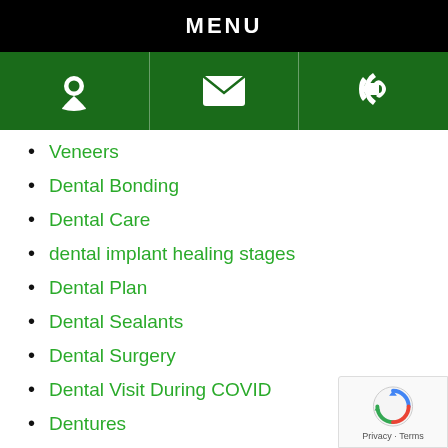MENU
[Figure (other): Green navigation bar with three icon cells: location pin icon, envelope/email icon, phone with signal waves icon]
Veneers
Dental Bonding
Dental Care
dental implant healing stages
Dental Plan
Dental Sealants
Dental Surgery
Dental Visit During COVID
Dentures
Emergency Dental Care